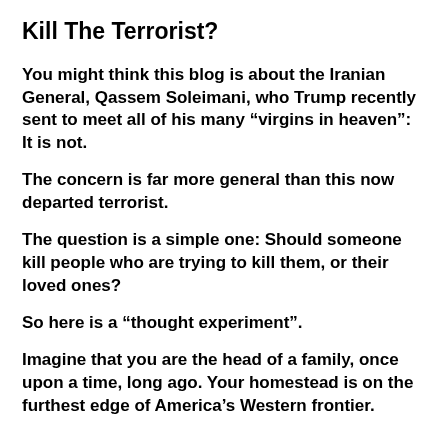Kill The Terrorist?
You might think this blog is about the Iranian General, Qassem Soleimani, who Trump recently sent to meet all of his many “virgins in heaven”: It is not.
The concern is far more general than this now departed terrorist.
The question is a simple one: Should someone kill people who are trying to kill them, or their loved ones?
So here is a “thought experiment”.
Imagine that you are the head of a family, once upon a time, long ago. Your homestead is on the furthest edge of America’s Western frontier.